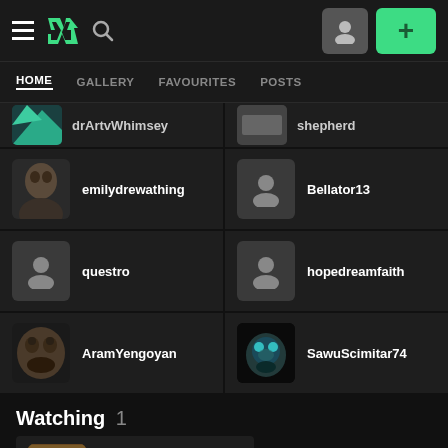DeviantArt navigation bar with hamburger menu, DA logo, search icon, user icon, and plus button
HOME | GALLERY | FAVOURITES | POSTS
drArtvWhimsey (partial, top-cropped)
Shepherd (partial, top-cropped)
emilydrewathing
Bellator13
questro
hopedreamfaith
AramYengoyan
SawuScimitar74
Watching 1
TheIllustrate...